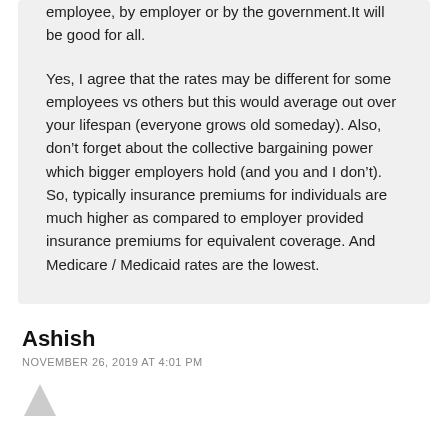employee, by employer or by the government.It will be good for all.

Yes, I agree that the rates may be different for some employees vs others but this would average out over your lifespan (everyone grows old someday). Also, don’t forget about the collective bargaining power which bigger employers hold (and you and I don’t). So, typically insurance premiums for individuals are much higher as compared to employer provided insurance premiums for equivalent coverage. And Medicare / Medicaid rates are the lowest.
Ashish
NOVEMBER 26, 2019 AT 4:01 PM